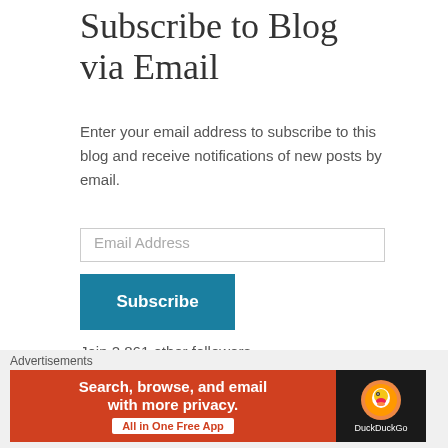Subscribe to Blog via Email
Enter your email address to subscribe to this blog and receive notifications of new posts by email.
Email Address
Subscribe
Join 2,861 other followers
Follow Us
Advertisements
[Figure (other): DuckDuckGo advertisement banner: 'Search, browse, and email with more privacy. All in One Free App' with DuckDuckGo logo on dark background]